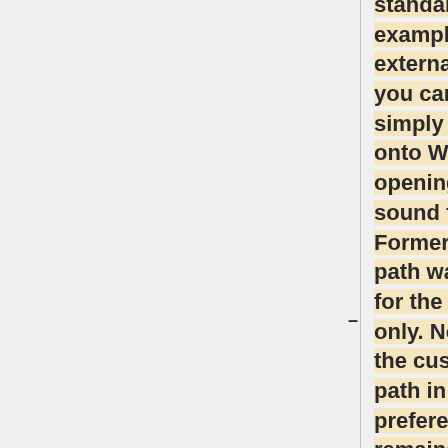standard location, for example, on an external flash drive, you can play one simply by dragging it onto Wenlin, or by opening one of the sound files in Wenlin. Formerly that sound path was remembered for the current session only. Now, we store the custom sound path in the user preferences, so that it remains active across Wenlin...